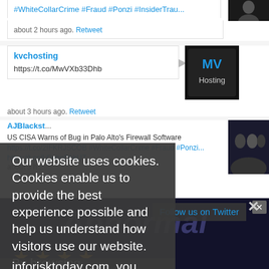#WhiteCollarCrime #Fraud #Ponzi #InsiderTrau...
about 2 hours ago. Retweet
kvchosting
https://t.co/MwVXb33Dhb
about 3 hours ago. Retweet
AJBlackst...
US CISA Warns of Bug in Palo Alto's Firewall Software https://t.co/2IFKRJSCOB #WhiteCollarCrime #Fraud #Ponzi... https://t.co/LOehnDhkU7
about 3 h...
Follow us on Twitter
Our website uses cookies. Cookies enable us to provide the best experience possible and help us understand how visitors use our website. By browsing inforisktoday.com, you agree to our use of cookies.
[Figure (screenshot): Bottom advertisement banner with 'Abnormal' text and gold stars on dark blue background]